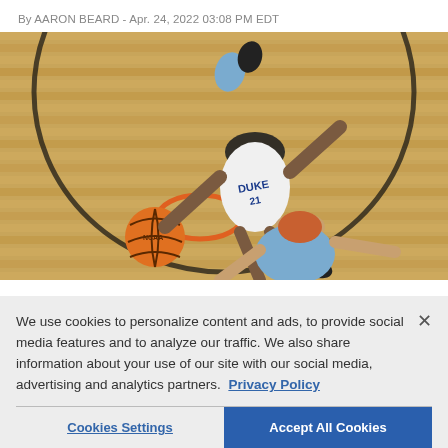By AARON BEARD - Apr. 24, 2022 03:08 PM EDT
[Figure (photo): Aerial view of Duke basketball player (#21 in white Duke jersey) dunking over a North Carolina player (light blue jersey) viewed from above the basket. A basketball and the basketball hoop rim are visible. The hardwood court floor fills the background.]
We use cookies to personalize content and ads, to provide social media features and to analyze our traffic. We also share information about your use of our site with our social media, advertising and analytics partners. Privacy Policy
Cookies Settings
Accept All Cookies